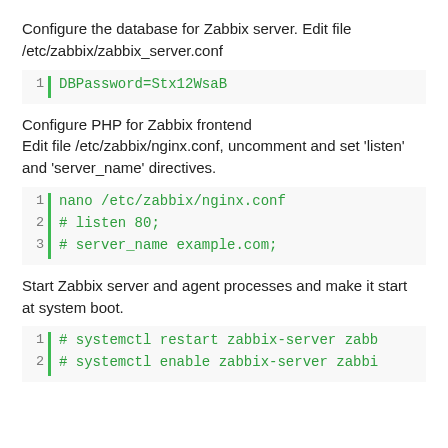Configure the database for Zabbix server. Edit file /etc/zabbix/zabbix_server.conf
[Figure (screenshot): Code block with line 1: DBPassword=Stx12WsaB]
Configure PHP for Zabbix frontend
Edit file /etc/zabbix/nginx.conf, uncomment and set 'listen' and 'server_name' directives.
[Figure (screenshot): Code block with 3 lines: 1: nano /etc/zabbix/nginx.conf, 2: # listen 80;, 3: # server_name example.com;]
Start Zabbix server and agent processes and make it start at system boot.
[Figure (screenshot): Code block with 2 lines: 1: # systemctl restart zabbix-server zabb, 2: # systemctl enable zabbix-server zabbi]